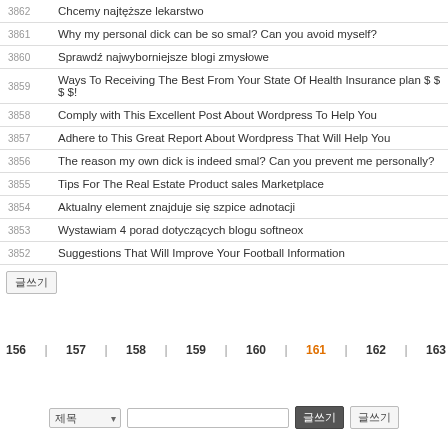| No | Title |
| --- | --- |
| 3862 | Chcemy najtęższe lekarstwo |
| 3861 | Why my personal dick can be so smal? Can you avoid myself? |
| 3860 | Sprawdź najwyborniejsze blogi zmysłowe |
| 3859 | Ways To Receiving The Best From Your State Of Health Insurance plan $ $ $ $! |
| 3858 | Comply with This Excellent Post About Wordpress To Help You |
| 3857 | Adhere to This Great Report About Wordpress That Will Help You |
| 3856 | The reason my own dick is indeed smal? Can you prevent me personally? |
| 3855 | Tips For The Real Estate Product sales Marketplace |
| 3854 | Aktualny element znajduje się szpice adnotacji |
| 3853 | Wystawiam 4 porad dotyczących blogu softneox |
| 3852 | Suggestions That Will Improve Your Football Information |
글쓰기 button
Pagination: 처음 이전페이지 156 157 158 159 160 161 (current) 162 163 164
Search bar with select dropdown and submit button